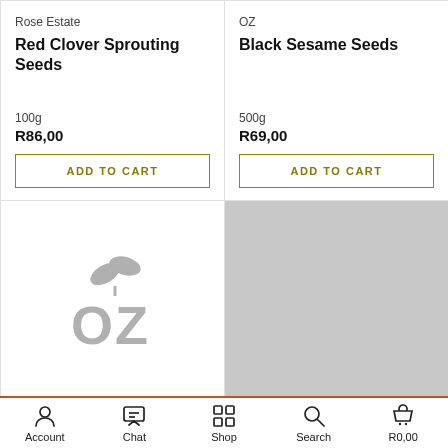Rose Estate
Red Clover Sprouting Seeds
100g
R86,00
ADD TO CART
OZ
Black Sesame Seeds
500g
R69,00
ADD TO CART
[Figure (logo): OZ brand logo with stylized leaves above text OZ in grey]
[Figure (photo): Grey placeholder rectangle for product image]
Account  Chat  Shop  Search  R0,00